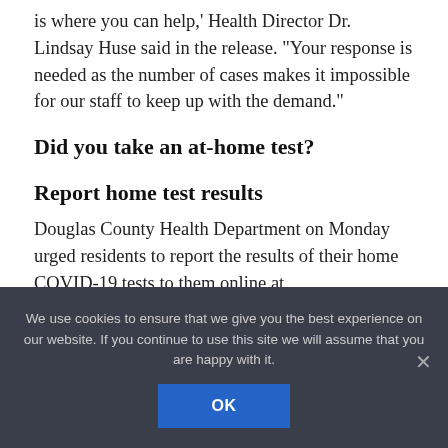is where you can help,' Health Director Dr. Lindsay Huse said in the release. 'Your response is needed as the number of cases makes it impossible for our staff to keep up with the demand.'
Did you take an at-home test?
Report home test results
Douglas County Health Department on Monday urged residents to report the results of their home COVID-19 tests to them online at douglascountyhealth.com.
We use cookies to ensure that we give you the best experience on our website. If you continue to use this site we will assume that you are happy with it.